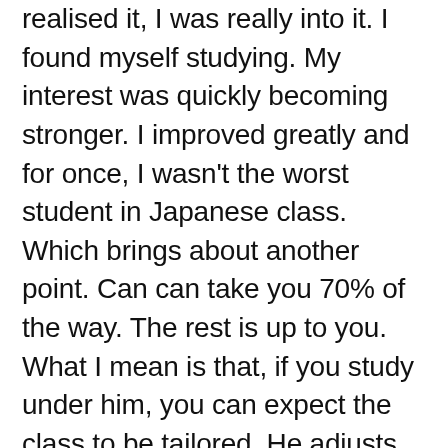realised it, I was really into it. I found myself studying. My interest was quickly becoming stronger. I improved greatly and for once, I wasn't the worst student in Japanese class. Which brings about another point. Can can take you 70% of the way. The rest is up to you. What I mean is that, if you study under him, you can expect the class to be tailored. He adjusts his style to suit the class and attention to weaker students in the class. The other bits are yourself and maybe a bit of luck no teacher can guarantee a pass if you don't even invest some attention to his teachings or notes. Speaking of which, are of high quality. His notes are not merely ctrl+c, ctrl+v, print, photocopy and photocopy. Notes are concise and simple to understand. Yet like a good blended whisky, his notes provide content that makes you take the next sip, the next lesson. Made of experience and a personal library of language books and he and his and his and his and his